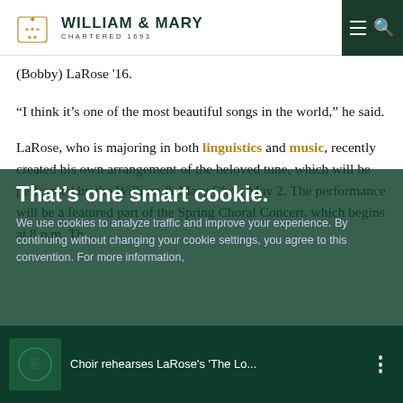William & Mary — Chartered 1693
(Bobby) LaRose '16.
“I think it’s one of the most beautiful songs in the world,” he said.
LaRose, who is majoring in both linguistics and music, recently created his own arrangement of the beloved tune, which will be performed by the William & Mary Choir May 2. The performance will be a featured part of the Spring Choral Concert, which begins at 8 p.m. Th
That’s one smart cookie.
We use cookies to analyze traffic and improve your experience. By continuing without changing your cookie settings, you agree to this convention. For more information,
Choir rehearses LaRose's 'The Lo...